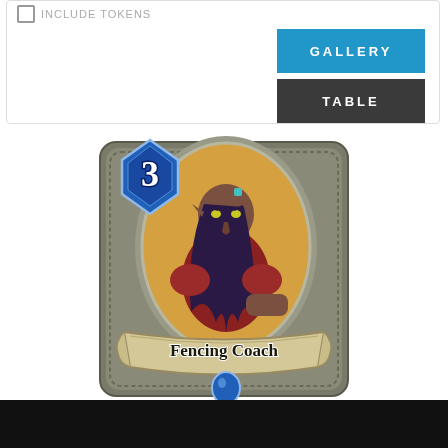[Figure (screenshot): UI panel with GALLERY (blue) and TABLE (dark) buttons]
[Figure (illustration): Hearthstone card: Fencing Coach. A night elf character in red armor with purple hair and glowing yellow eyes, set in a stone card frame. Mana cost: 3 (blue gem). Card name banner reads 'Fencing Coach'. Blue gem at bottom center.]